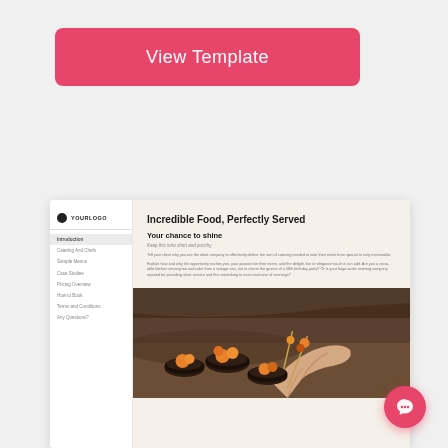View Template
[Figure (screenshot): Preview of a catering proposal template with sidebar navigation, title 'Incredible Food, Perfectly Served', subheading 'Your chance to shine', body text paragraphs, and a food photo showing hands with small food dishes on skewers]
[Figure (logo): Pink circular chat/messaging widget button in bottom right corner]